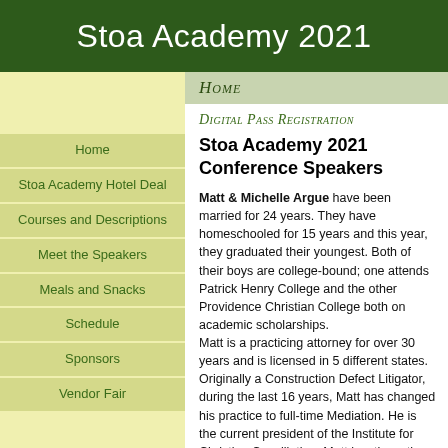Stoa Academy 2021
Home
Stoa Academy Hotel Deal
Courses and Descriptions
Meet the Speakers
Meals and Snacks
Schedule
Sponsors
Vendor Fair
Home
Digital Pass Registration
Stoa Academy 2021 Conference Speakers
Matt & Michelle Argue have been married for 24 years. They have homeschooled for 15 years and this year, they graduated their youngest. Both of their boys are college-bound; one attends Patrick Henry College and the other Providence Christian College both on academic scholarships. Matt is a practicing attorney for over 30 years and is licensed in 5 different states. Originally a Construction Defect Litigator, during the last 16 years, Matt has changed his practice to full-time Mediation. He is the current president of the Institute for Christian Conciliation. Matt is a three-time cancer survivor and stem cell transplant recipient. He has a passion for family, biblical